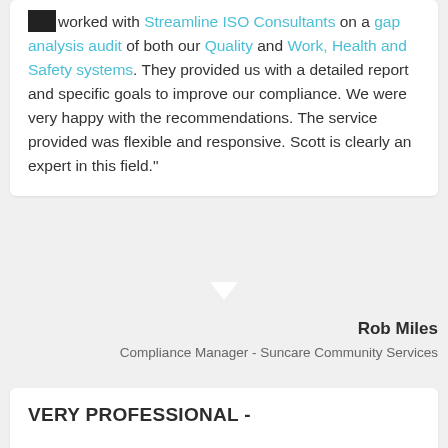"We worked with Streamline ISO Consultants on a gap analysis audit of both our Quality and Work, Health and Safety systems. They provided us with a detailed report and specific goals to improve our compliance. We were very happy with the recommendations. The service provided was flexible and responsive. Scott is clearly an expert in this field."
Rob Miles
Compliance Manager - Suncare Community Services
VERY PROFESSIONAL -